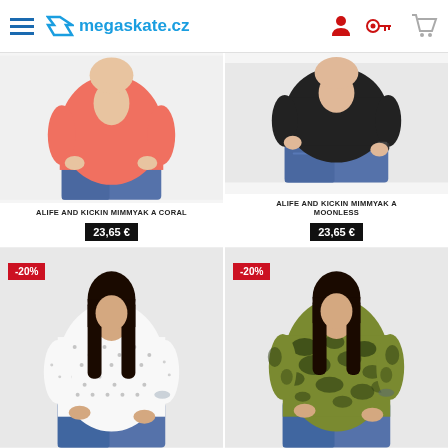megaskate.cz
[Figure (photo): Woman wearing coral/salmon colored t-shirt with jeans, product photo]
ALIFE AND KICKIN MIMMYAK A CORAL
23,65 €
[Figure (photo): Woman wearing black t-shirt with ripped jeans, product photo]
ALIFE AND KICKIN MIMMYAK A MOONLESS
23,65 €
[Figure (photo): Woman wearing white t-shirt with small dot pattern, -20% discount badge]
[Figure (photo): Woman wearing yellow-green camo patterned t-shirt, -20% discount badge]